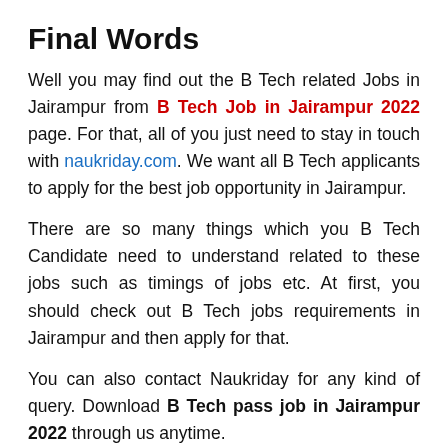Final Words
Well you may find out the B Tech related Jobs in Jairampur from B Tech Job in Jairampur 2022 page. For that, all of you just need to stay in touch with naukriday.com. We want all B Tech applicants to apply for the best job opportunity in Jairampur.
There are so many things which you B Tech Candidate need to understand related to these jobs such as timings of jobs etc. At first, you should check out B Tech jobs requirements in Jairampur and then apply for that.
You can also contact Naukriday for any kind of query. Download B Tech pass job in Jairampur 2022 through us anytime.